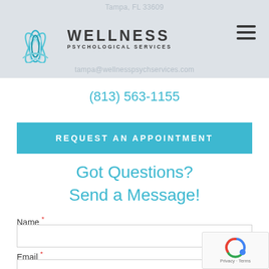Tampa, FL 33609 | tampa@wellnesspsychservices.com
[Figure (logo): Wellness Psychological Services logo with lotus flower icon]
(813) 563-1155
REQUEST AN APPOINTMENT
Got Questions? Send a Message!
Name *
Email *